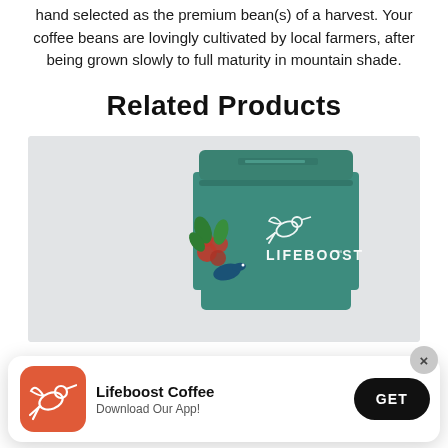hand selected as the premium bean(s) of a harvest. Your coffee beans are lovingly cultivated by local farmers, after being grown slowly to full maturity in mountain shade.
Related Products
[Figure (photo): Teal Lifeboost coffee bag with hummingbird logo and floral/bird design on lower portion, displayed against a light gray background. A second partially visible teal bag is shown at the bottom.]
[Figure (infographic): App download banner with red Lifeboost hummingbird icon, text 'Lifeboost Coffee / Download Our App!' and a black GET button. A gray X close button appears in the top right corner.]